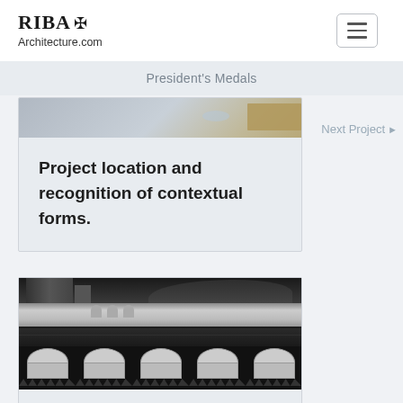RIBA Architecture.com
President's Medals
Project location and recognition of contextual forms.
Next Project ▶
[Figure (photo): Black and white photograph of a waterfront building with hills in background, below which are repeating architectural arch/corbel detail drawings in black and white]
Existing edge condition and response through a design